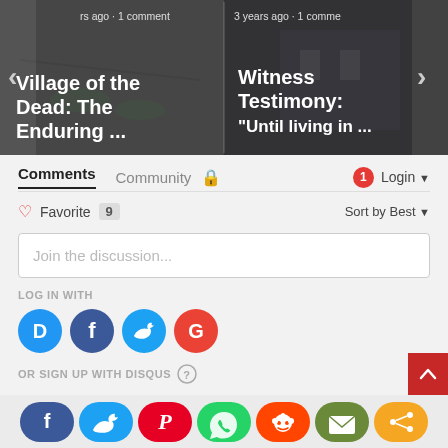[Figure (screenshot): Carousel showing two article cards: 'Village of the Dead: The Enduring ...' with timestamp 'rs ago · 1 comment' and 'Witness Testimony: Until living in ...' with timestamp '3 years ago · 1 comme'. Navigation arrows on left and right.]
Comments   Community 🔒    1  Login ▾
♡ Favorite  9      Sort by Best ▾
Join the discussion...
LOG IN WITH
[Figure (logo): Social login icons: Disqus (D, blue), Facebook (f, dark blue), Twitter (bird, light blue), Google (G, red)]
OR SIGN UP WITH DISQUS ?
[Figure (infographic): Bottom share bar with pill-shaped icons: Facebook (dark blue), Twitter (light blue), Pinterest (red), WhatsApp (green), Reddit (orange-red), Email (olive green), Share (orange)]